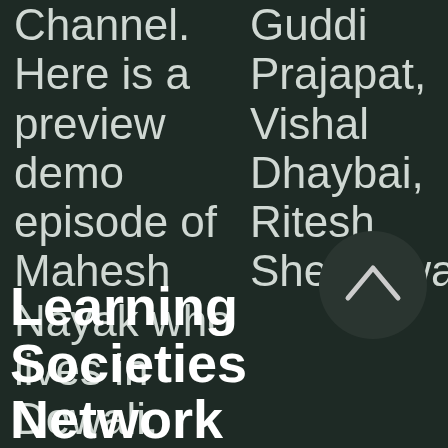Channel. Here is a preview demo episode of Mahesh Nayak who lives in Dewali.
Guddi Prajapat, Vishal Dhaybai, Ritesh Shekhawat.
[Figure (illustration): Dark circular button with upward-pointing chevron/arrow icon]
Learning Societies Network